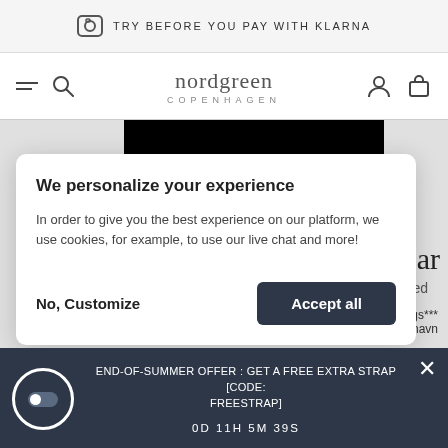TRY BEFORE YOU PAY WITH KLARNA
[Figure (screenshot): Nordgreen Copenhagen logo with hamburger menu, search, user, and bag icons]
[Figure (photo): Black product image (watch)]
bean Bar
ised
ings***
Location: Aboulevard 9AB, 1635 København
We personalize your experience

In order to give you the best experience on our platform, we use cookies, for example, to use our live chat and more!
No, Customize
Accept all
END-OF-SUMMER OFFER : GET A FREE EXTRA STRAP [CODE: FREESTRAP]

0D 11H 5M 39S